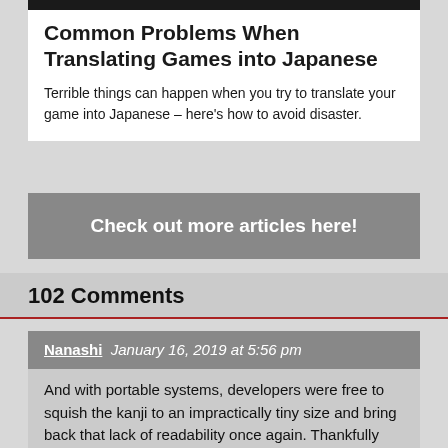[Figure (photo): Dark image bar at top of article card]
Common Problems When Translating Games into Japanese
Terrible things can happen when you try to translate your game into Japanese – here's how to avoid disaster.
Check out more articles here!
102 Comments
Nanashi  January 16, 2019 at 5:56 pm
And with portable systems, developers were free to squish the kanji to an impractically tiny size and bring back that lack of readability once again. Thankfully modern resolutions have stopped that nonsense